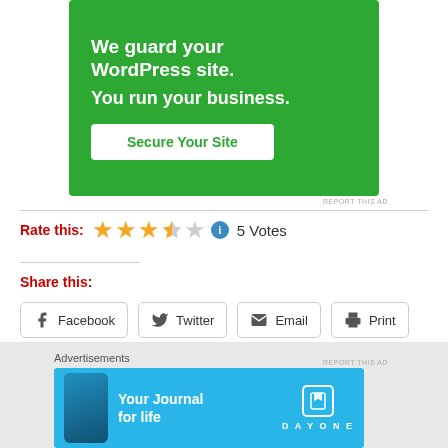[Figure (illustration): Green advertisement banner: 'We guard your WordPress site. You run your business.' with a 'Secure Your Site' button]
REPORT THIS AD
Rate this: ★★★½☆ ℹ 5 Votes
Share this:
Facebook  Twitter  Email  Print
Loading...
Advertisements
[Figure (illustration): Blue advertisement banner for Day One: 'Your Journal for life' with phone mockup and Day One logo]